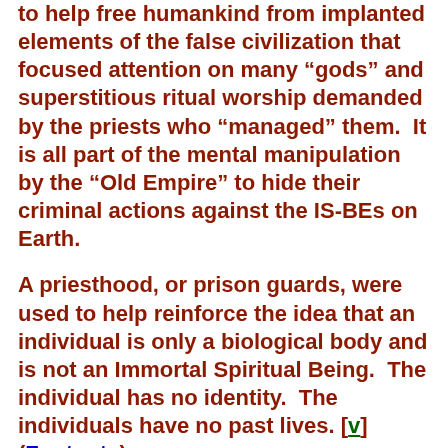to help free humankind from implanted elements of the false civilization that focused attention on many “gods” and superstitious ritual worship demanded by the priests who “managed” them.  It is all part of the mental manipulation by the “Old Empire” to hide their criminal actions against the IS-BEs on Earth.
A priesthood, or prison guards, were used to help reinforce the idea that an individual is only a biological body and is not an Immortal Spiritual Being.  The individual has no identity.  The individuals have no past lives. [v] (Footnote)
The individual has no power.  Only the gods have power.  And, the gods are a contrivance of the priests who intended to...